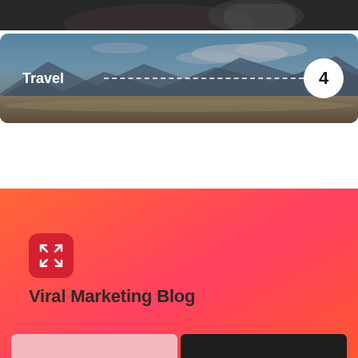[Figure (photo): Partial top strip showing a dark background image, appears to be a person or object close-up]
[Figure (photo): Travel category card with a scenic desert/mountain landscape photo background, white bold text 'Travel', a dashed horizontal line, and a white circular badge with the number 4]
[Figure (infographic): Orange-to-pink gradient section showing a red rounded square icon with expand/fullscreen arrows and the bold text 'Viral Marketing Blog' below it]
[Figure (infographic): Bottom strip showing partial pink card and dark card at the very bottom of the page]